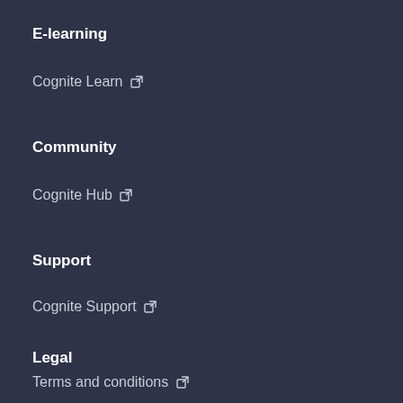E-learning
Cognite Learn ↗
Community
Cognite Hub ↗
Support
Cognite Support ↗
Legal
Terms and conditions ↗